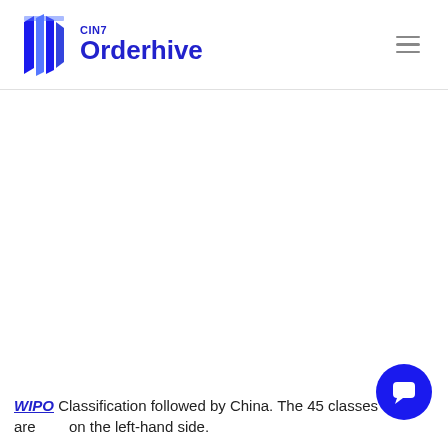CIN7 Orderhive
WIPO Classification followed by China. The 45 classes are on the left-hand side.